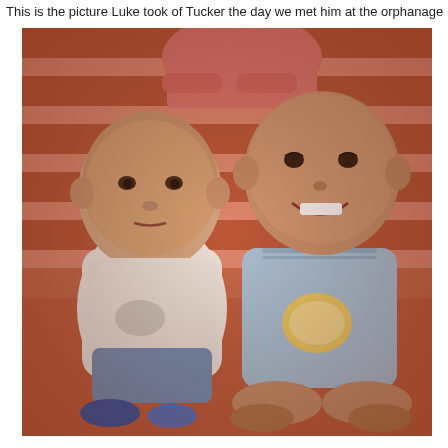This is the picture Luke took of Tucker the day we met him at the orphanage
[Figure (photo): Vintage-toned photo of two young children sitting on wooden steps. On the left is a toddler with Down syndrome wearing a white t-shirt and blue shorts. On the right is an older smiling child wearing a blue sleeveless top with a cartoon graphic. An adult in a pink shirt is visible behind them.]